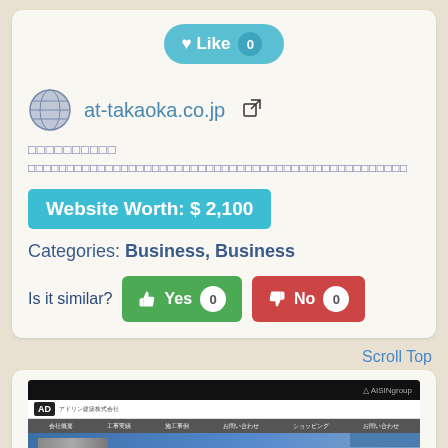[Figure (screenshot): Like button with count 0 on teal rounded button]
at-takaoka.co.jp [external link icon]
日本語テキスト（サイト説明1行目）
日本語テキスト（サイト説明2行目、長文）
Website Worth: $ 2,100
Categories: Business, Business
Is it similar?  Yes 0   No 0
Scroll Top
[Figure (screenshot): Screenshot of at-takaoka.co.jp website showing Japanese construction/housing company with building facade image and Japanese text 未来を守る、笑顔をつくる]